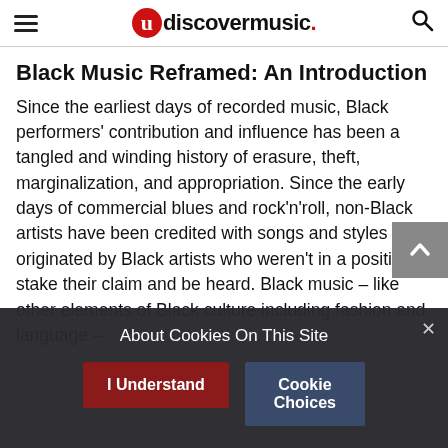udiscovermusic.
Black Music Reframed: An Introduction
Since the earliest days of recorded music, Black performers' contribution and influence has been a tangled and winding history of erasure, theft, marginalization, and appropriation. Since the early days of commercial blues and rock'n'roll, non-Black artists have been credited with songs and styles originated by Black artists who weren't in a position to stake their claim and be heard. Black music – like other elements of Black culture including fashion and language – has been...
About Cookies On This Site
I Understand
Cookie Choices